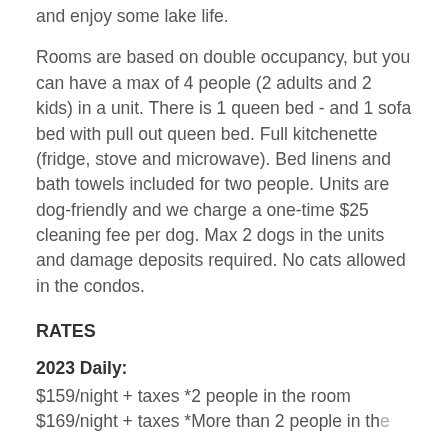and enjoy some lake life.
Rooms are based on double occupancy, but you can have a max of 4 people (2 adults and 2 kids) in a unit. There is 1 queen bed - and 1 sofa bed with pull out queen bed. Full kitchenette (fridge, stove and microwave). Bed linens and bath towels included for two people. Units are dog-friendly and we charge a one-time $25 cleaning fee per dog. Max 2 dogs in the units and damage deposits required. No cats allowed in the condos.
RATES
2023 Daily:
$159/night + taxes *2 people in the room
$169/night + taxes *More than 2 people in the